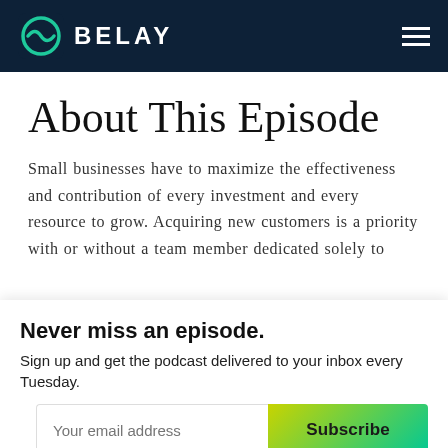BELAY
About This Episode
Small businesses have to maximize the effectiveness and contribution of every investment and every resource to grow. Acquiring new customers is a priority with or without a team member dedicated solely to
Never miss an episode.
Sign up and get the podcast delivered to your inbox every Tuesday.